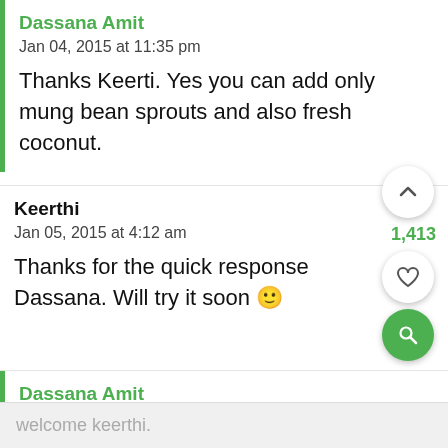Dassana Amit
Jan 04, 2015 at 11:35 pm
Thanks Keerti. Yes you can add only mung bean sprouts and also fresh coconut.
Keerthi
Jan 05, 2015 at 4:12 am
Thanks for the quick response Dassana. Will try it soon 🙂
Dassana Amit
Jan 05, 2015 at 11:58 pm
welcome keerthi.